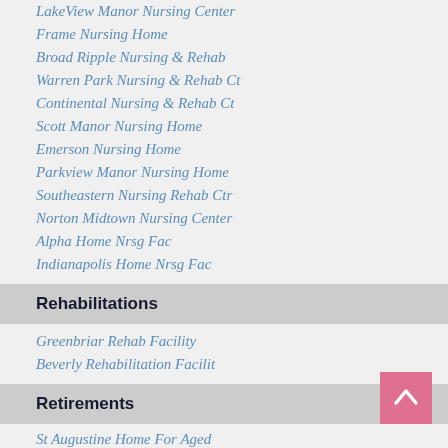LakeView Manor Nursing Center
Frame Nursing Home
Broad Ripple Nursing & Rehab
Warren Park Nursing & Rehab Ct
Continental Nursing & Rehab Ct
Scott Manor Nursing Home
Emerson Nursing Home
Parkview Manor Nursing Home
Southeastern Nursing Rehab Ctr
Norton Midtown Nursing Center
Alpha Home Nrsg Fac
Indianapolis Home Nrsg Fac
Rehabilitations
Greenbriar Rehab Facility
Beverly Rehabilitation Facilit
Retirements
St Augustine Home For Aged